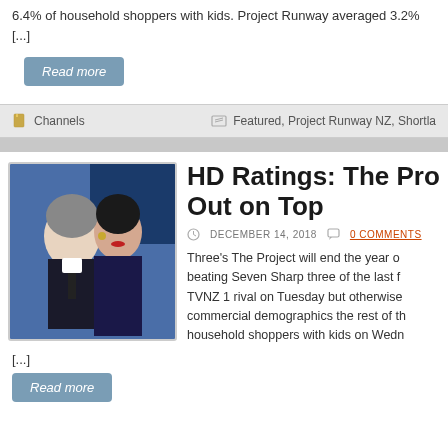6.4% of household shoppers with kids. Project Runway averaged 3.2% [...]
Read more
Channels
Featured, Project Runway NZ, Shortla...
HD Ratings: The Project Out on Top
DECEMBER 14, 2018   0 COMMENTS
Three's The Project will end the year on top, beating Seven Sharp three of the last f... TVNZ 1 rival on Tuesday but otherwise... commercial demographics the rest of th... household shoppers with kids on Wedn...
[...]
Read more